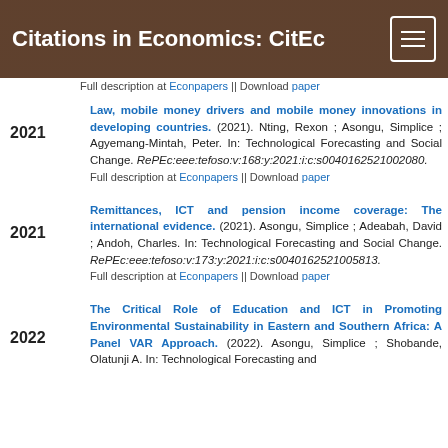Citations in Economics: CitEc
Full description at Econpapers || Download paper
Law, mobile money drivers and mobile money innovations in developing countries. (2021). Nting, Rexon ; Asongu, Simplice ; Agyemang-Mintah, Peter. In: Technological Forecasting and Social Change. RePEc:eee:tefoso:v:168:y:2021:i:c:s0040162521002080.
Full description at Econpapers || Download paper
Remittances, ICT and pension income coverage: The international evidence. (2021). Asongu, Simplice ; Adeabah, David ; Andoh, Charles. In: Technological Forecasting and Social Change. RePEc:eee:tefoso:v:173:y:2021:i:c:s0040162521005813.
Full description at Econpapers || Download paper
The Critical Role of Education and ICT in Promoting Environmental Sustainability in Eastern and Southern Africa: A Panel VAR Approach. (2022). Asongu, Simplice ; Shobande, Olatunji A. In: Technological Forecasting and